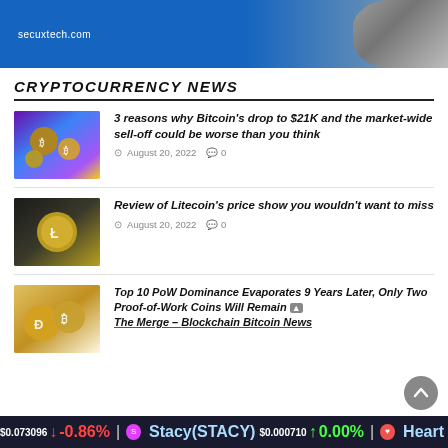[Figure (photo): Advertisement banner for secuxtech.com with blue background and a person's image on the right]
CRYPTOCURRENCY NEWS
[Figure (photo): Thumbnail image of animated Bitcoin characters in purple/blue scene]
3 reasons why Bitcoin's drop to $21K and the market-wide sell-off could be worse than you think
August 20, 2022  0
[Figure (photo): Thumbnail image of a Litecoin coin on dark background]
Review of Litecoin's price show you wouldn't want to miss
August 20, 2022  0
[Figure (photo): Thumbnail image of Dogecoin and Bitcoin coins]
Top 10 PoW Dominance Evaporates 9 Years Later, Only Two Proof-of-Work Coins Will Remain The Merge – Blockchain Bitcoin News
$0.073096 -0.86% Stacy(STACY) $0.000710 0.00% Heart